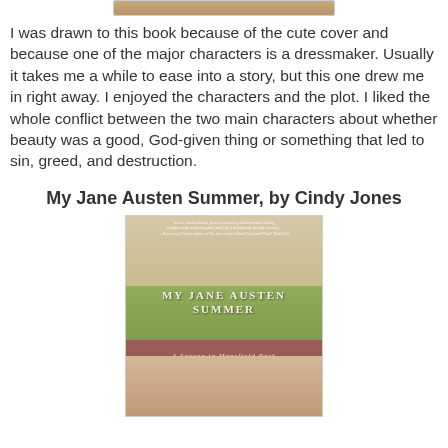[Figure (photo): Partial top edge of a book cover image, cropped at the top of the page]
I was drawn to this book because of the cute cover and because one of the major characters is a dressmaker. Usually it takes me a while to ease into a story, but this one drew me in right away. I enjoyed the characters and the plot. I liked the whole conflict between the two main characters about whether beauty was a good, God-given thing or something that led to sin, greed, and destruction.
My Jane Austen Summer, by Cindy Jones
[Figure (photo): Book cover of 'My Jane Austen Summer: A Season in Mansfield Park' by Cindy Jones, showing a woman in Regency-era dress with a building and lawn in the background]